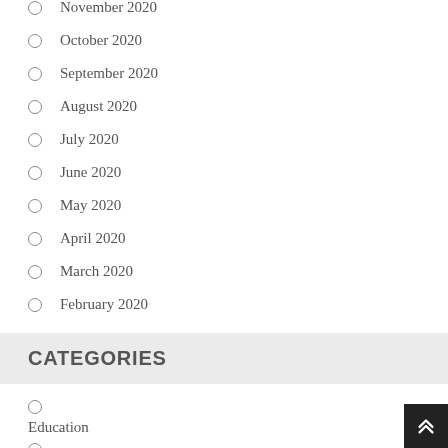November 2020
October 2020
September 2020
August 2020
July 2020
June 2020
May 2020
April 2020
March 2020
February 2020
CATEGORIES
Education